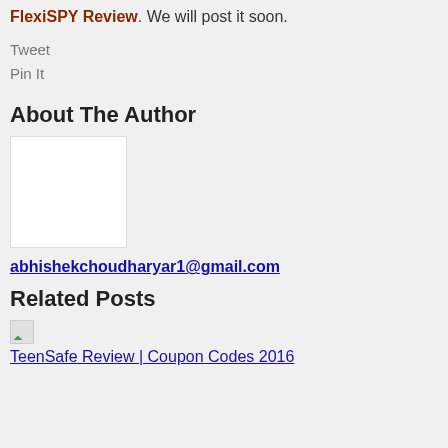FlexiSPY Review. We will post it soon.
Tweet
Pin It
About The Author
[Figure (photo): Author profile image placeholder - white rectangle]
abhishekchoudharyar1@gmail.com
Related Posts
[Figure (photo): Small broken image thumbnail for related post]
TeenSafe Review | Coupon Codes 2016